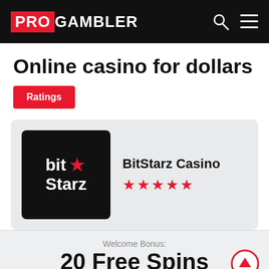PROGAMBLER
Online casino for dollars
Ratings
[Figure (logo): BitStarz Casino logo — black background with 'bit star Starz' text in white and red star]
BitStarz Casino ★★★★★
Welcome Bonus: 20 Free Spins No Deposit Needed